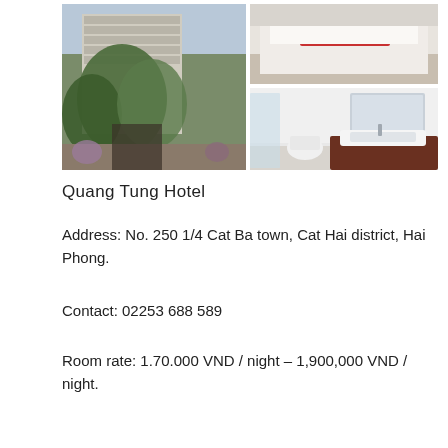[Figure (photo): Hotel exterior with trees and multi-story building; bathroom with glass shower; bedroom with red rug; modern bathroom with sink and mirror]
Quang Tung Hotel
Address: No. 250 1/4 Cat Ba town, Cat Hai district, Hai Phong.
Contact: 02253 688 589
Room rate: 1.70.000 VND / night – 1,900,000 VND / night.